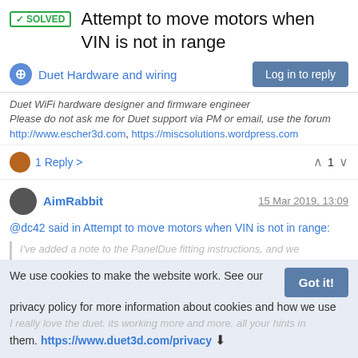✓SOLVED Attempt to move motors when VIN is not in range
Duet Hardware and wiring
Duet WiFi hardware designer and firmware engineer
Please do not ask me for Duet support via PM or email, use the forum
http://www.escher3d.com, https://miscsolutions.wordpress.com
1 Reply >  ^ 1 v
AimRabbit  15 Mar 2019, 13:09
@dc42 said in Attempt to move motors when VIN is not in range:
I've added a note to the PanelDue fitting instructions, and we get the wiring diagram updated too.
I really love the duet. its working more and more. all your hints in them.
We use cookies to make the website work. See our privacy policy for more information about cookies and how we use them. https://www.duet3d.com/privacy